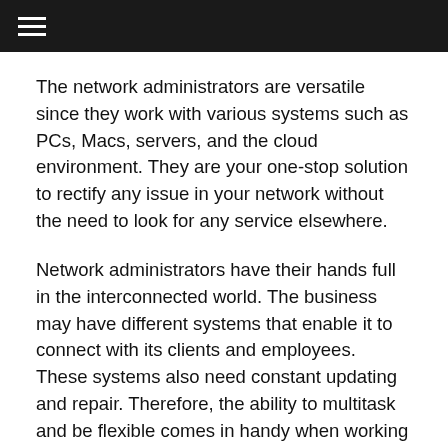≡
The network administrators are versatile since they work with various systems such as PCs, Macs, servers, and the cloud environment. They are your one-stop solution to rectify any issue in your network without the need to look for any service elsewhere.
Network administrators have their hands full in the interconnected world. The business may have different systems that enable it to connect with its clients and employees. These systems also need constant updating and repair. Therefore, the ability to multitask and be flexible comes in handy when working on multiple problems and upgrading their